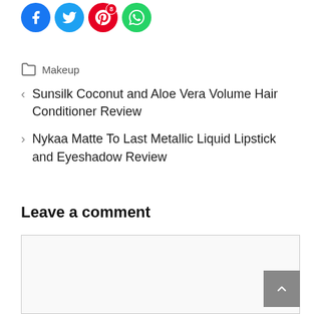[Figure (other): Social sharing icons row: Facebook (blue circle), Twitter (light blue circle), Pinterest (red circle with badge '8'), WhatsApp (green circle)]
Makeup
< Sunsilk Coconut and Aloe Vera Volume Hair Conditioner Review
> Nykaa Matte To Last Metallic Liquid Lipstick and Eyeshadow Review
Leave a comment